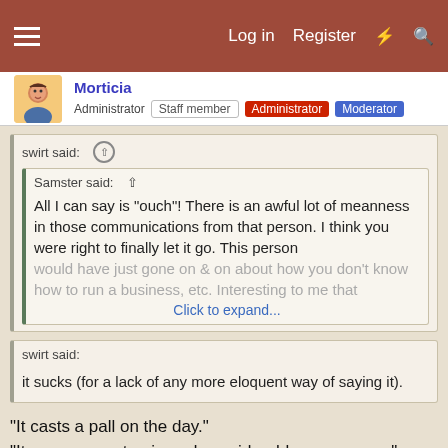≡  Log in  Register  ⚡  🔍
Morticia  Administrator  Staff member  Administrator  Moderator
swirt said: ↑
Samster said: ↑
All I can say is "ouch"! There is an awful lot of meanness in those communications from that person. I think you were right to finally let it go. This person would have just gone on & on about how you don't know how to run a business, etc. Interesting to me that
Click to expand...
swirt said:
it sucks (for a lack of any more eloquent way of saying it).
"It casts a pall on the day."
"It causes great pain and considerable annoyance."
"It causes the birds to be silent and the sun to fade."